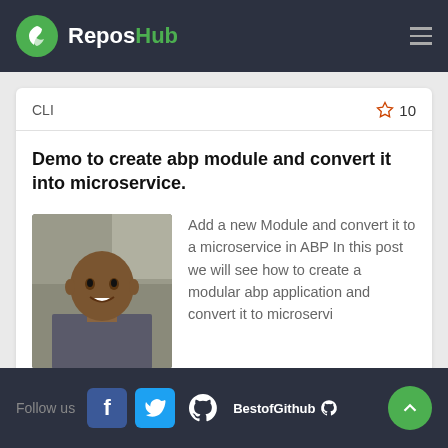ReposHub
CLI
☆ 10
Demo to create abp module and convert it into microservice.
[Figure (photo): Portrait photo of a young man smiling]
Add a new Module and convert it to a microservice in ABP In this post we will see how to create a modular abp application and convert it to microservi
Follow us  f  t  BestofGithub